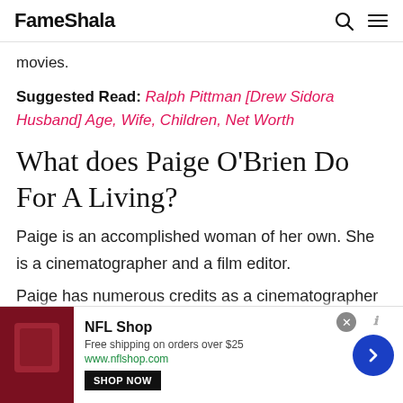FameShala
movies.
Suggested Read: Ralph Pittman [Drew Sidora Husband] Age, Wife, Children, Net Worth
What does Paige O'Brien Do For A Living?
Paige is an accomplished woman of her own. She is a cinematographer and a film editor.
Paige has numerous credits as a cinematographer
[Figure (other): NFL Shop advertisement banner with logo, text 'Free shipping on orders over $25', 'www.nflshop.com', 'SHOP NOW' button, and navigation arrow]